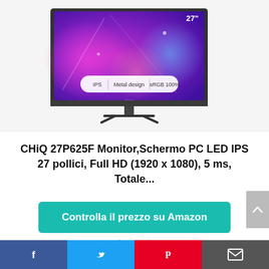[Figure (photo): CHiQ 27P625F monitor shown from front angle. Screen displays a purple/pink gradient background with colorful bubbles. On the lower part of the screen a white pill-shaped badge shows: IPS | Metal design | sRGB 100%. Upper right corner shows '27"'. Monitor has thin bezels and a slim tripod-style stand. Brand logo 'CHiQ' visible at bottom bezel.]
CHiQ 27P625F Monitor,Schermo PC LED IPS 27 pollici, Full HD (1920 x 1080), 5 ms, Totale...
Controlla il prezzo su Amazon
Amazon.it
[Figure (infographic): Social sharing bar at the bottom with four segments: Facebook (blue with 'f' icon), Twitter (cyan with bird icon), Pinterest (red with 'P' icon), Email (dark grey with envelope icon).]